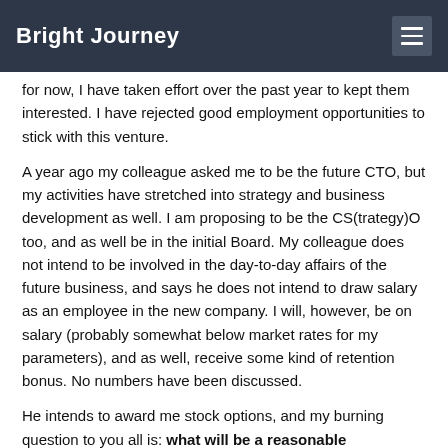Bright Journey
for now, I have taken effort over the past year to kept them interested. I have rejected good employment opportunities to stick with this venture.
A year ago my colleague asked me to be the future CTO, but my activities have stretched into strategy and business development as well. I am proposing to be the CS(trategy)O too, and as well be in the initial Board. My colleague does not intend to be involved in the day-to-day affairs of the future business, and says he does not intend to draw salary as an employee in the new company. I will, however, be on salary (probably somewhat below market rates for my parameters), and as well, receive some kind of retention bonus. No numbers have been discussed.
He intends to award me stock options, and my burning question to you all is: what will be a reasonable expectation on my part, as a salaried co-founder,